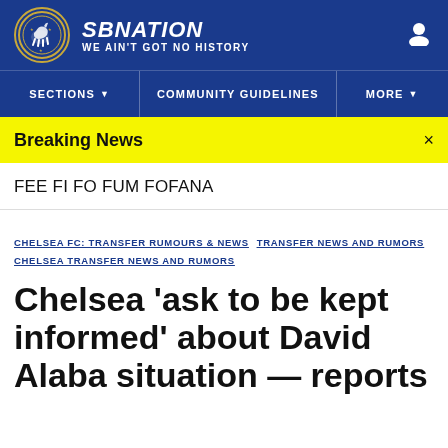SBNATION / WE AIN'T GOT NO HISTORY
SECTIONS  COMMUNITY GUIDELINES  MORE
Breaking News
FEE FI FO FUM FOFANA
CHELSEA FC: TRANSFER RUMOURS & NEWS  TRANSFER NEWS AND RUMORS  CHELSEA TRANSFER NEWS AND RUMORS
Chelsea ‘ask to be kept informed’ about David Alaba situation — reports